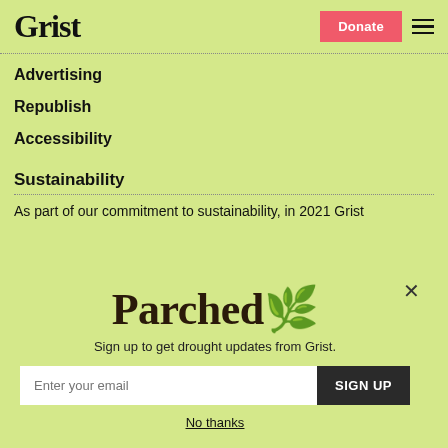Grist | Donate
Advertising
Republish
Accessibility
Sustainability
As part of our commitment to sustainability, in 2021 Grist
[Figure (infographic): Parched newsletter signup modal with 'Parched' stylized title, email input field, SIGN UP button, and 'No thanks' dismiss link]
Sign up to get drought updates from Grist.
Enter your email
SIGN UP
No thanks